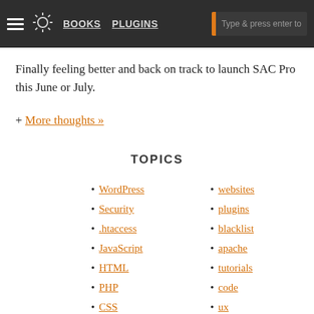BOOKS  PLUGINS  [search bar]
Finally feeling better and back on track to launch SAC Pro this June or July.
+ More thoughts »
TOPICS
WordPress
Security
.htaccess
JavaScript
HTML
PHP
CSS
SEO
more »
websites
plugins
blacklist
apache
tutorials
code
ux
mod_rewrite
optimization
design